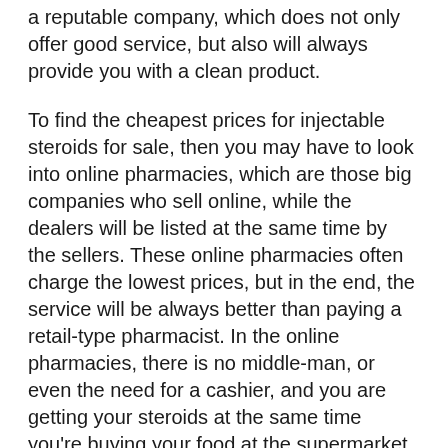a reputable company, which does not only offer good service, but also will always provide you with a clean product.
To find the cheapest prices for injectable steroids for sale, then you may have to look into online pharmacies, which are those big companies who sell online, while the dealers will be listed at the same time by the sellers. These online pharmacies often charge the lowest prices, but in the end, the service will be always better than paying a retail-type pharmacist. In the online pharmacies, there is no middle-man, or even the need for a cashier, and you are getting your steroids at the same time you're buying your food at the supermarket, or at the local drugstore.
If you are not sure about the drug you are